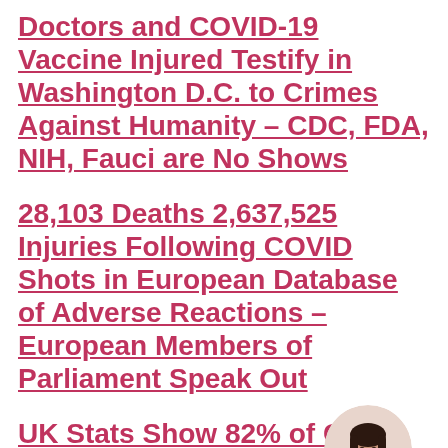Doctors and COVID-19 Vaccine Injured Testify in Washington D.C. to Crimes Against Humanity – CDC, FDA, NIH, Fauci are No Shows
28,103 Deaths 2,637,525 Injuries Following COVID Shots in European Database of Adverse Reactions – European Members of Parliament Speak Out
UK Stats Show 82% of COV Deaths and 66% of Hospitalisations are among Fully...
[Figure (photo): Circular avatar photo of a smiling young woman with long dark hair, wearing a white top, on a light background.]